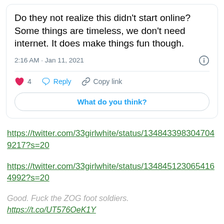[Figure (screenshot): Screenshot of a tweet card showing tweet text, timestamp, like count, reply button, copy link button, and a 'What do you think?' call-to-action button]
https://twitter.com/33girlwhite/status/1348433983047049217?s=20
https://twitter.com/33girlwhite/status/1348451230654164992?s=20
Good. Fuck the ZOG foot soldiers.
https://t.co/UT576OeK1Y